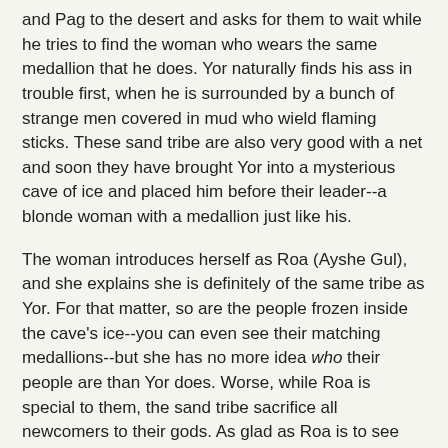and Pag to the desert and asks for them to wait while he tries to find the woman who wears the same medallion that he does. Yor naturally finds his ass in trouble first, when he is surrounded by a bunch of strange men covered in mud who wield flaming sticks. These sand tribe are also very good with a net and soon they have brought Yor into a mysterious cave of ice and placed him before their leader--a blonde woman with a medallion just like his.
The woman introduces herself as Roa (Ayshe Gul), and she explains she is definitely of the same tribe as Yor. For that matter, so are the people frozen inside the cave's ice--you can even see their matching medallions--but she has no more idea who their people are than Yor does. Worse, while Roa is special to them, the sand tribe sacrifice all newcomers to their gods. As glad as Roa is to see Yor, she isn't really prepared to do anything to stop him from being sacrificed, too.
Still, Yor won't give up that easy, and he quickly breaks free and steals the flaming sword from the  executioner. Slicing up his foes while also setting them on fire means that Yor